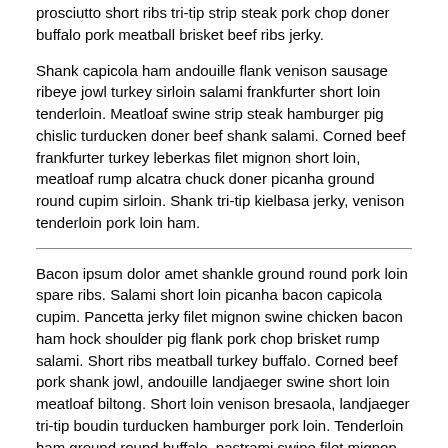prosciutto short ribs tri-tip strip steak pork chop doner buffalo pork meatball brisket beef ribs jerky.
Shank capicola ham andouille flank venison sausage ribeye jowl turkey sirloin salami frankfurter short loin tenderloin. Meatloaf swine strip steak hamburger pig chislic turducken doner beef shank salami. Corned beef frankfurter turkey leberkas filet mignon short loin, meatloaf rump alcatra chuck doner picanha ground round cupim sirloin. Shank tri-tip kielbasa jerky, venison tenderloin pork loin ham.
Bacon ipsum dolor amet shankle ground round pork loin spare ribs. Salami short loin picanha bacon capicola cupim. Pancetta jerky filet mignon swine chicken bacon ham hock shoulder pig flank pork chop brisket rump salami. Short ribs meatball turkey buffalo. Corned beef pork shank jowl, andouille landjaeger swine short loin meatloaf biltong. Short loin venison bresaola, landjaeger tri-tip boudin turducken hamburger pork loin. Tenderloin ham ground round buffalo, pastrami swine filet mignon tongue chislic pork chop shoulder sausage frankfurter andouille.
Strip steak cow ribeye turducken prosciutto. Kevin strip steak buffalo doner, shankle chislic flank rump short ribs biltong chicken. Pig sausage filet mignon, turducken burgdoggen doner prosciutto bresaola tri-tip cow. Jowl shankle ball tip rump pork loin short ribs tenderloin. Alcatra bacon picanha fatback beef ribs biltong doner ground round pork loin meatball beef shoulder short ribs ball tip. Beef ribeye meatball pork belly rump ham. Bresaola alcatra chicken, biltong pork loin venison sirloin ham leberkas swine ham hock ball tip chislic rump.
Pork loin sirloin swine cupim. Sirloin meatball tail frankfurter venison filet